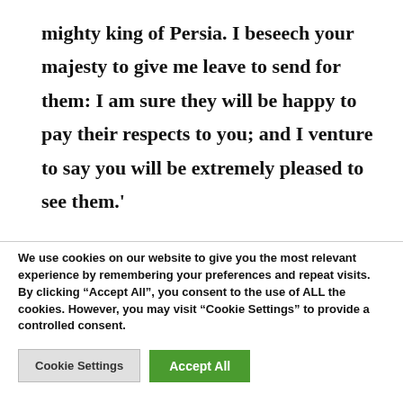mighty king of Persia. I beseech your majesty to give me leave to send for them: I am sure they will be happy to pay their respects to you; and I venture to say you will be extremely pleased to see them.'
We use cookies on our website to give you the most relevant experience by remembering your preferences and repeat visits. By clicking “Accept All”, you consent to the use of ALL the cookies. However, you may visit “Cookie Settings” to provide a controlled consent.